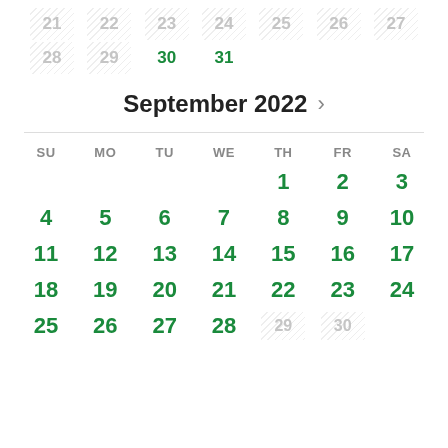[Figure (other): Calendar showing end of August 2022 (days 21-31) and full September 2022 calendar grid with days 1-30. August trailing days 21-29 are dimmed/grayed with diagonal hatching. August 30 and 31 are in green bold. September header with right arrow. Day-of-week row: SU MO TU WE TH FR SA. September 1-28 in green bold, 29-30 dimmed.]
September 2022